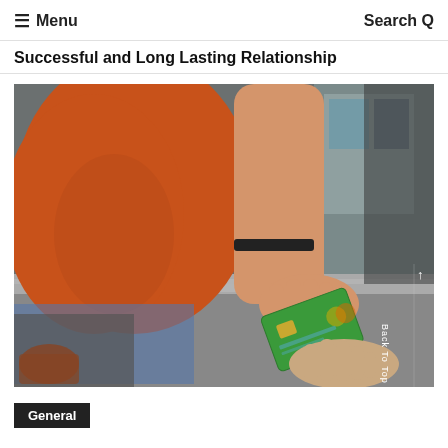≡ Menu   Search Q
Successful and Long Lasting Relationship
[Figure (photo): A person in an orange shirt handing a green credit card to a cashier over a checkout counter. The card is being exchanged between two hands above a metallic counter surface.]
General